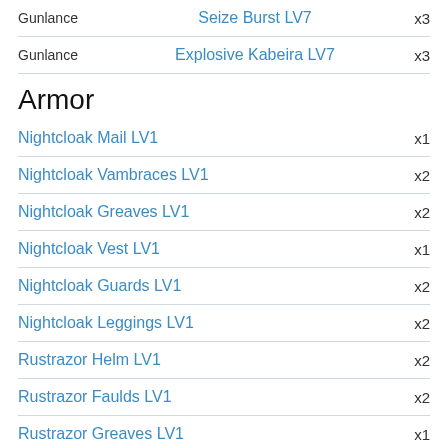Gunlance — Seize Burst LV7 x3
Gunlance — Explosive Kabeira LV7 x3
Armor
Nightcloak Mail LV1 x1
Nightcloak Vambraces LV1 x2
Nightcloak Greaves LV1 x2
Nightcloak Vest LV1 x1
Nightcloak Guards LV1 x2
Nightcloak Leggings LV1 x2
Rustrazor Helm LV1 x2
Rustrazor Faulds LV1 x2
Rustrazor Greaves LV1 x1
Rustrazor Cap LV1 x2
Rustrazor Coat LV1 x2